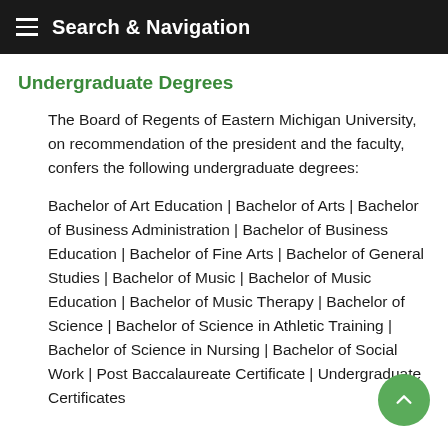Search & Navigation
Undergraduate Degrees
The Board of Regents of Eastern Michigan University, on recommendation of the president and the faculty, confers the following undergraduate degrees:
Bachelor of Art Education | Bachelor of Arts | Bachelor of Business Administration | Bachelor of Business Education | Bachelor of Fine Arts | Bachelor of General Studies | Bachelor of Music | Bachelor of Music Education | Bachelor of Music Therapy | Bachelor of Science | Bachelor of Science in Athletic Training | Bachelor of Science in Nursing | Bachelor of Social Work | Post Baccalaureate Certificate | Undergraduate Certificates